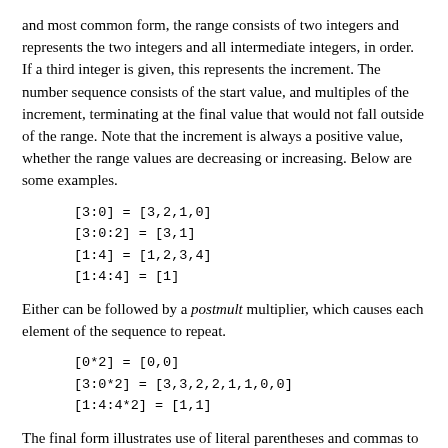and most common form, the range consists of two integers and represents the two integers and all intermediate integers, in order. If a third integer is given, this represents the increment. The number sequence consists of the start value, and multiples of the increment, terminating at the final value that would not fall outside of the range. Note that the increment is always a positive value, whether the range values are decreasing or increasing. Below are some examples.
Either can be followed by a postmult multiplier, which causes each element of the sequence to repeat.
The final form illustrates use of literal parentheses and commas to associate a list of vector expressions to a post-multiplier. The entire list will be repeated. The parentheses can be nested to arbitrary depth.